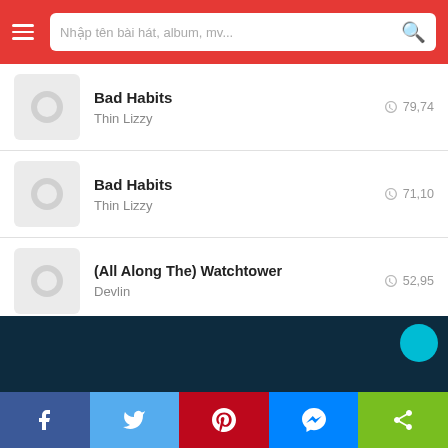Nhập tên bài hát, album, mv...
Bad Habits
Thin Lizzy
79,74
Bad Habits
Thin Lizzy
71,10
(All Along The) Watchtower
Devlin
52,95